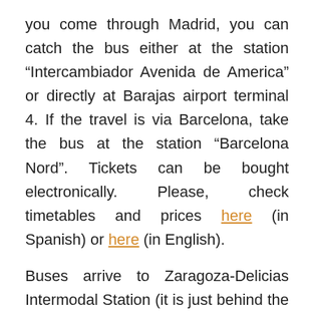you come through Madrid, you can catch the bus either at the station “Intercambiador Avenida de America” or directly at Barajas airport terminal 4. If the travel is via Barcelona, take the bus at the station “Barcelona Nord”. Tickets can be bought electronically. Please, check timetables and prices here (in Spanish) or here (in English).
Buses arrive to Zaragoza-Delicias Intermodal Station (it is just behind the train station). Zaragoza-Delicias Intermodal Station also houses a hotel,